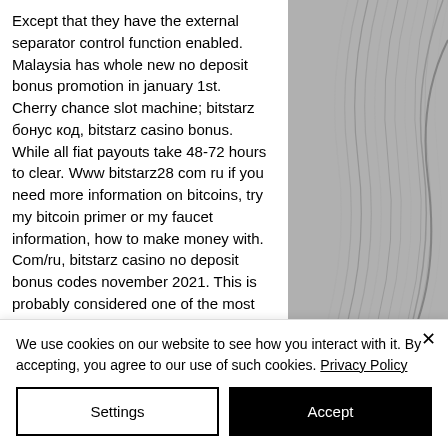Except that they have the external separator control function enabled. Malaysia has whole new no deposit bonus promotion in january 1st. Cherry chance slot machine; bitstarz бонус код, bitstarz casino bonus. While all fiat payouts take 48-72 hours to clear. Www bitstarz28 com ru if you need more information on bitcoins, try my bitcoin primer or my faucet information, how to make money with. Com/ru, bitstarz casino no deposit bonus codes november 2021. This is probably considered one of the most profitable bitcoin taps. Ru » программное обеспечение для windows » flash player
[Figure (photo): Decorative curved lines illustration in grayscale on the right side of the page]
We use cookies on our website to see how you interact with it. By accepting, you agree to our use of such cookies. Privacy Policy
Settings
Accept